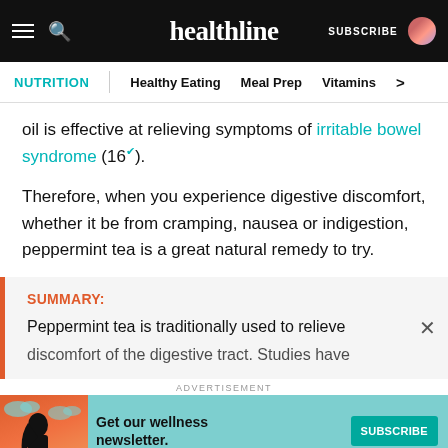healthline | NUTRITION | Healthy Eating | Meal Prep | Vitamins
oil is effective at relieving symptoms of irritable bowel syndrome (16).
Therefore, when you experience digestive discomfort, whether it be from cramping, nausea or indigestion, peppermint tea is a great natural remedy to try.
SUMMARY:
Peppermint tea is traditionally used to relieve discomfort of the digestive tract. Studies have
[Figure (infographic): Advertisement banner with illustrated woman, teal background, text 'Get our wellness newsletter.' and a SUBSCRIBE button]